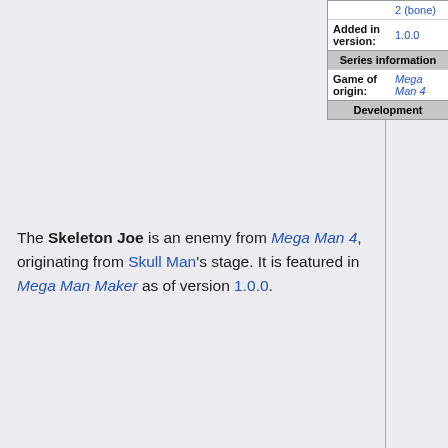|  |  |
| --- | --- |
|  | 2 (bone) |
| Added in version: | 1.0.0 |
| Series information |  |
| Game of origin: | Mega Man 4 |
| Development |  |
The Skeleton Joe is an enemy from Mega Man 4, originating from Skull Man's stage. It is featured in Mega Man Maker as of version 1.0.0.
It stays still most of the time, occasionally throwing bones at the player. If if gets hit by a weapon, it will crumble before getting back up shortly after. While it is destroyed, it cannot be hit.
Category:  Enemies